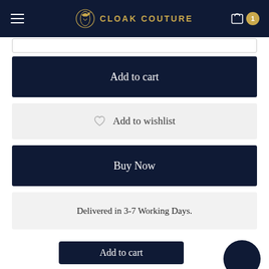[Figure (screenshot): Cloak Couture e-commerce website header with dark navy background, hamburger menu on left, gold logo and wordmark in center, and cart icon with badge on right]
Add to cart
♡  Add to wishlist
Buy Now
Delivered in 3-7 Working Days.
SKU:  CCST0243
Add to cart